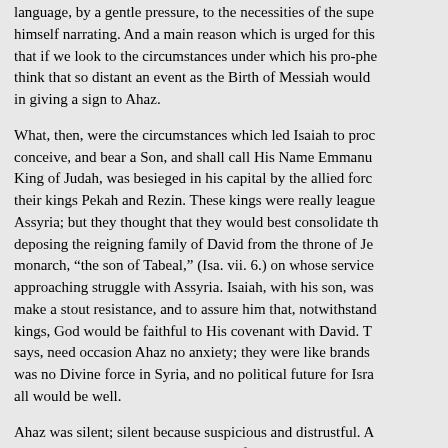language, by a gentle pressure, to the necessities of the supe himself narrating. And a main reason which is urged for this that if we look to the circumstances under which his pro-phe think that so distant an event as the Birth of Messiah would in giving a sign to Ahaz.
What, then, were the circumstances which led Isaiah to proc conceive, and bear a Son, and shall call His Name Emmanu King of Judah, was besieged in his capital by the allied forc their kings Pekah and Rezin. These kings were really league Assyria; but they thought that they would best consolidate th deposing the reigning family of David from the throne of Je monarch, "the son of Tabeal," (Isa. vii. 6.) on whose service approaching struggle with Assyria. Isaiah, with his son, was make a stout resistance, and to assure him that, notwithstand kings, God would be faithful to His covenant with David. T says, need occasion Ahaz no anxiety; they were like brands was no Divine force in Syria, and no political future for Isra all would be well.
Ahaz was silent; silent because suspicious and distrustful. A some token which might assure him of God's presence with "Ask thee a sign of the Lord thy God; ask it either in the de Had Ahaz then asked for a token of God's good will towards immediate descendants, it would, no doubt, have been grant